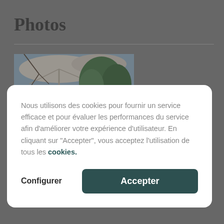Photos
[Figure (photo): Partial view of outdoor umbrella and green foliage against a blue sky, used as a background image on the page]
Nous utilisons des cookies pour fournir un service efficace et pour évaluer les performances du service afin d'améliorer votre expérience d'utilisateur. En cliquant sur "Accepter", vous acceptez l'utilisation de tous les cookies.
Configurer
Accepter